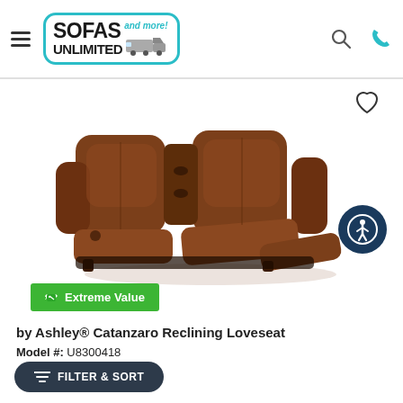Sofas Unlimited and more! [logo with search and phone icons]
[Figure (photo): Brown leather reclining loveseat with center console, shown in semi-reclined position against white background]
Extreme Value
by Ashley® Catanzaro Reclining Loveseat
Model #: U8300418
FILTER & SORT